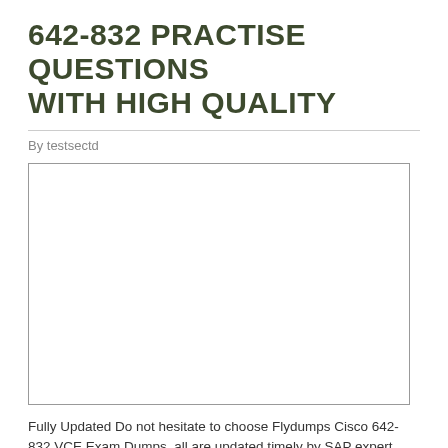642-832 PRACTISE QUESTIONS WITH HIGH QUALITY
By testsectd
[Figure (other): Empty bordered rectangle placeholder image]
Fully Updated Do not hesitate to choose Flydumps Cisco 642-832 VCE Exam Dumps, all are updated timely by SAP expert professionals.Visit the site Flydumps.co